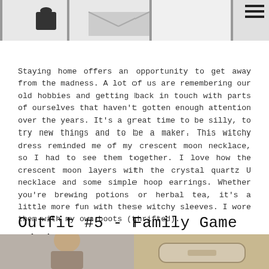[Figure (photo): Top banner showing a partial view of clothing items/outfit photos in a row, cut off at top of page]
Staying home offers an opportunity to get away from the madness. A lot of us are remembering our old hobbies and getting back in touch with parts of ourselves that haven't gotten enough attention over the years. It's a great time to be silly, to try new things and to be a maker. This witchy dress reminded me of my crescent moon necklace, so I had to see them together. I love how the crescent moon layers with the crystal quartz U necklace and some simple hoop earrings. Whether you're brewing potions or herbal tea, it's a little more fun with these witchy sleeves. I wore them with my own boots (thrifted).
Outfit #5 - Family Game Night
[Figure (photo): Two partial photos at bottom of page: left shows woman with brown hair in gray background, right shows a fanny pack or accessory on wooden surface]